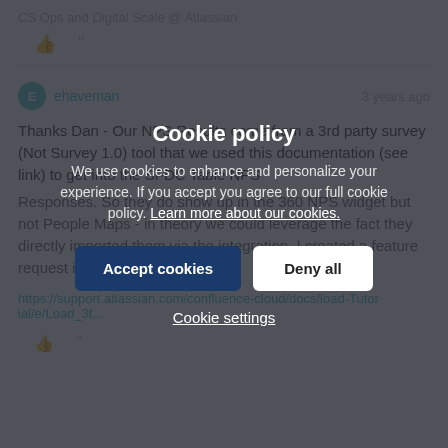CS Ops and Digital Scale @ Atlassian
ehaveman · 3 years ago
Thanks Dan - Our NPS Results come from a 3rd party survey (Not Survey 1.0) tool that we used this documentation (see link) to get into the SFDC Table NPS Responses. So they do show up in the 360 NPS widget but not People Maps - in theory we could leverage the fact they directly imported them via the integration. I created a feature request in Meta for the...
https://support.atlassian.com/confluence-cloud/docs/load-Tutorial/e/Load_3t...
[Figure (screenshot): Cookie policy overlay dialog with title 'Cookie policy', body text about cookies, Accept cookies button, Deny all button, and Cookie settings link]
Cookie policy
We use cookies to enhance and personalize your experience. If you accept you agree to our full cookie policy. Learn more about our cookies.
Accept cookies | Deny all
Cookie settings